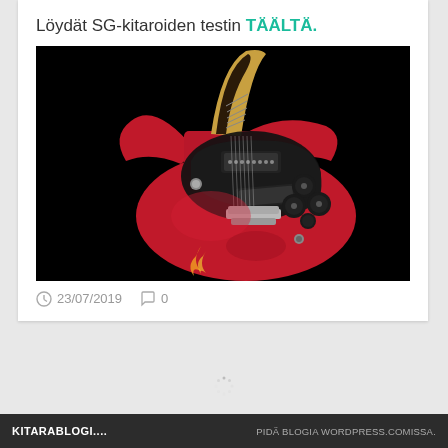Löydät SG-kitaroiden testin TÄÄLTÄ.
[Figure (photo): Red Gibson SG-style electric guitar photographed against a black background, showing the body, pickups, bridge, and control knobs.]
23/07/2019   0
KITARABLOGI....   PIDÄ BLOGIA WORDPRESS.COMISSA.